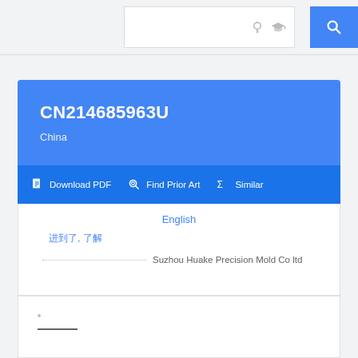[Figure (screenshot): Google Patents search bar with lightbulb and graduation cap icons and blue search button]
CN214685963U
China
Download PDF  Find Prior Art  Similar
English
湖北, 湖南
Suzhou Huake Precision Mold Co ltd